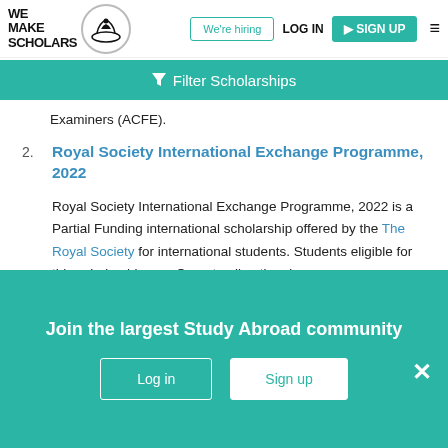We Make Scholars — We're hiring | LOG IN | SIGN UP
Filter Scholarships
Examiners (ACFE).
2. Royal Society International Exchange Programme, 2022
Royal Society International Exchange Programme, 2022 is a Partial Funding international scholarship offered by the The Royal Society for international students. Students eligible for this scholarship are: Open to all nationals.
Join the largest Study Abroad community
Log in
Sign up